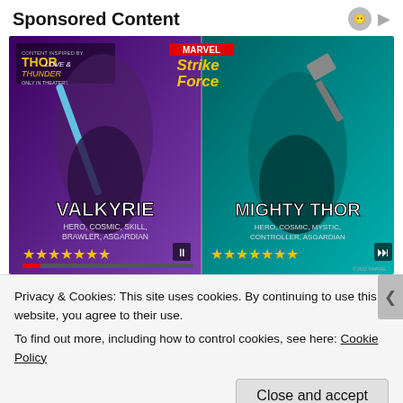Sponsored Content
[Figure (illustration): Marvel Strike Force sponsored ad featuring Valkyrie and Mighty Thor characters. Valkyrie on left: HERO, COSMIC, SKILL, BRAWLER, ASGARDIAN with star rating. Mighty Thor on right: HERO, COSMIC, MYSTIC, CONTROLLER, ASGARDIAN with star rating. Thor: Love and Thunder movie branding in top left. Marvel Strike Force logo top center.]
Privacy & Cookies: This site uses cookies. By continuing to use this website, you agree to their use.
To find out more, including how to control cookies, see here: Cookie Policy
Close and accept